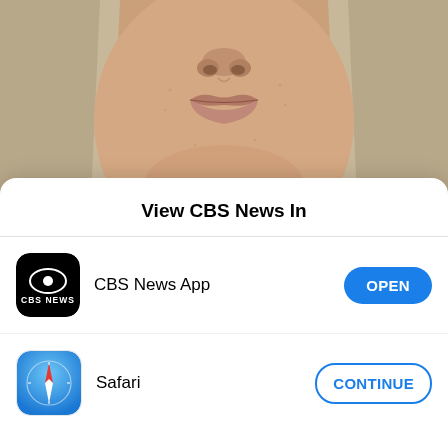[Figure (photo): Close-up photo of a woman's face (Jennifer Anne Hall), cropped showing lower half of face and blonde hair on both sides]
Jennifer Anne Hall, 41, was arrested in Kansas on an arrest warrant
LIVINGSTON COUNTY SHERIFF'S OFFICE
Livingston County Prosecuting Attorney Adam Warren, who launched an investigation 10 years ago
View CBS News In
CBS News App  OPEN
Safari  CONTINUE